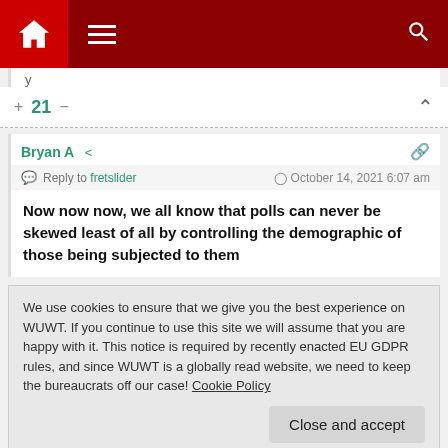Navigation bar with home, menu, and search icons
+ 21 −
Bryan A  Reply to fretslider  October 14, 2021 6:07 am
Now now now, we all know that polls can never be skewed least of all by controlling the demographic of those being subjected to them
We use cookies to ensure that we give you the best experience on WUWT. If you continue to use this site we will assume that you are happy with it. This notice is required by recently enacted EU GDPR rules, and since WUWT is a globally read website, we need to keep the bureaucrats off our case! Cookie Policy
Close and accept